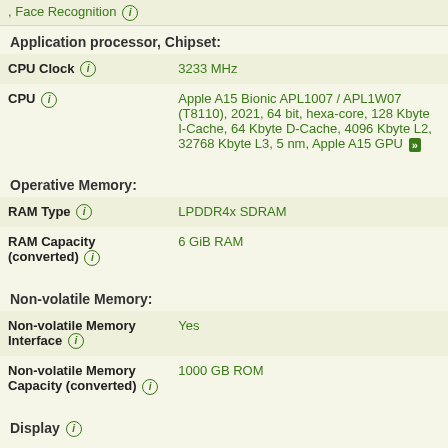, Face Recognition
Application processor, Chipset:
| Property | Value |
| --- | --- |
| CPU Clock | 3233 MHz |
| CPU | Apple A15 Bionic APL1007 / APL1W07 (T8110), 2021, 64 bit, hexa-core, 128 Kbyte I-Cache, 64 Kbyte D-Cache, 4096 Kbyte L2, 32768 Kbyte L3, 5 nm, Apple A15 GPU |
Operative Memory:
| Property | Value |
| --- | --- |
| RAM Type | LPDDR4x SDRAM |
| RAM Capacity (converted) | 6 GiB RAM |
Non-volatile Memory:
| Property | Value |
| --- | --- |
| Non-volatile Memory Interface | Yes |
| Non-volatile Memory Capacity (converted) | 1000 GB ROM |
Display